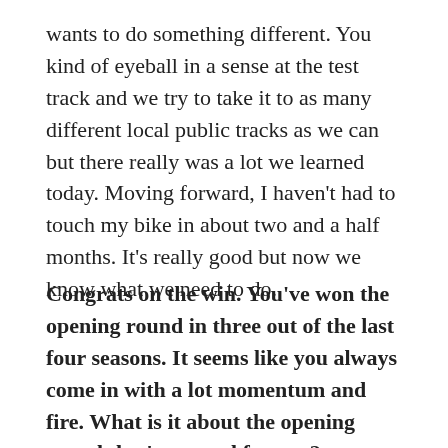wants to do something different. You kind of eyeball in a sense at the test track and we try to take it to as many different local public tracks as we can but there really was a lot we learned today. Moving forward, I haven't had to touch my bike in about two and a half months. It's really good but now we know what we need to do.
Congrats on the win. You've won the opening round in three out of the last four seasons. It seems like you always come in with a lot momentum and fire. What is it about the opening round that's so good for you?